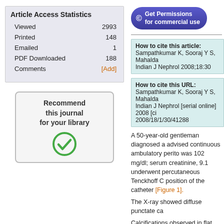|  |  |
| --- | --- |
| Viewed | 2993 |
| Printed | 148 |
| Emailed | 1 |
| PDF Downloaded | 188 |
| Comments | [Add] |
[Figure (other): Recommend this journal for your library button with green checkmark icon]
[Figure (other): Get Permissions for commercial use button (blue rounded rectangle with copyright icon)]
How to cite this article: Sampathkumar K, Sooraj Y S, Mahalda Indian J Nephrol 2008;18:30
How to cite this URL: Sampathkumar K, Sooraj Y S, Mahalda Indian J Nephrol [serial online] 2008 [ci 2008/18/1/30/41288
A 50-year-old gentleman diagnosed a advised continuous ambulatory perito was 102 mg/dl; serum creatinine, 9.1 underwent percutaneous Tenckhoff C position of the catheter [Figure 1].
The X-ray showed diffuse punctate ca
Calcifications observed in flat plate fib particular organ and those diffusely o punctate discrete calcifications in the